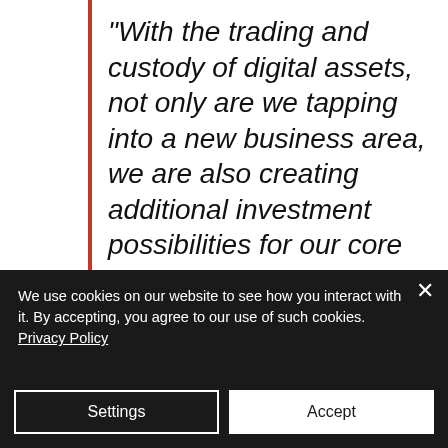“With the trading and custody of digital assets, not only are we tapping into a new business area, we are also creating additional investment possibilities for our core business. This will benefit younger, tech-savvy client segments as well as private and institutional
We use cookies on our website to see how you interact with it. By accepting, you agree to our use of such cookies. Privacy Policy